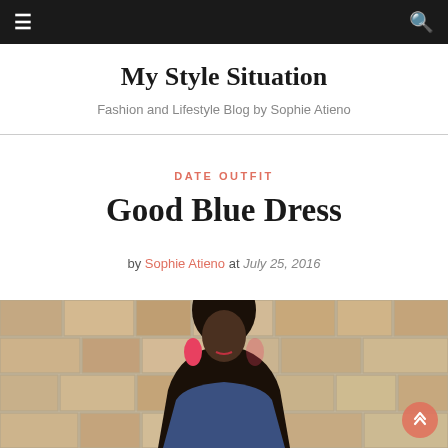My Style Situation — navigation bar with hamburger menu and search icon
My Style Situation
Fashion and Lifestyle Blog by Sophie Atieno
DATE OUTFIT
Good Blue Dress
by Sophie Atieno at July 25, 2016
[Figure (photo): Woman in blue dress standing against a stone brick wall, wearing red hoop earrings]